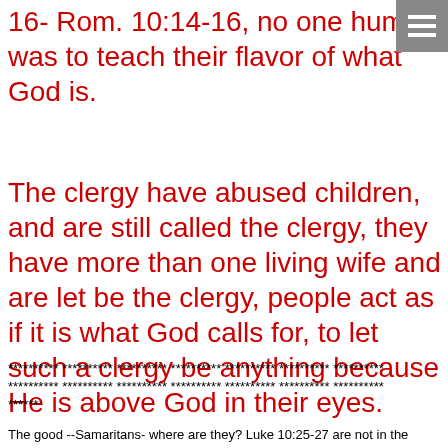16- Rom. 10:14-16, no one human was to teach their flavor of what God is.
The clergy have abused children, and are still called the clergy, they have more than one living wife and are let be the clergy, people act as if it is what God calls for, to let such a clergy be anything because He is above God in their eyes.
********** ********** ********** ********** ********** ********** ********** ********** ********** ********** ********** ********** ********** ********** ********** ******
The good --Samaritans- where are they? Luke 10:25-27 are not in the